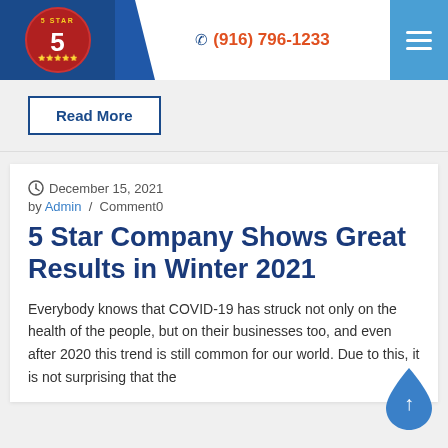5 Star | (916) 796-1233
Read More
December 15, 2021  by Admin / Comment0
5 Star Company Shows Great Results in Winter 2021
Everybody knows that COVID-19 has struck not only on the health of the people, but on their businesses too, and even after 2020 this trend is still common for our world. Due to this, it is not surprising that the